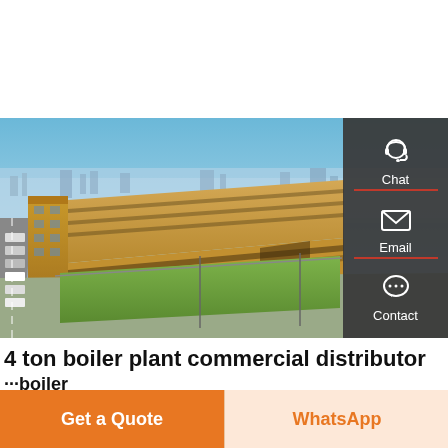[Figure (photo): Aerial photograph of a large industrial factory/boiler plant complex with a long tan/yellow warehouse structure, green lawn in front, and blue sky with light haze in the background. A sidebar on the right shows Chat, Email, Contact icons on dark background.]
4 ton boiler plant commercial distributor
···boiler
Get a Quote
WhatsApp